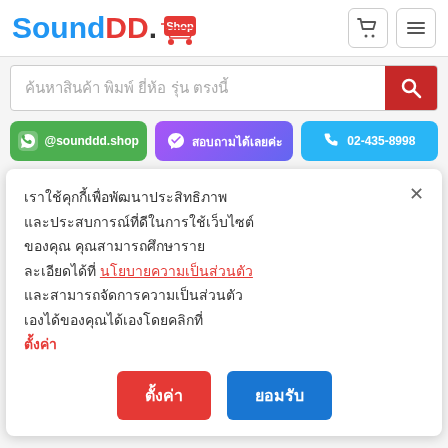[Figure (logo): SoundDD.Shop logo with blue 'Sound', red 'DD', and red 'Shop' badge with shopping cart icon]
ค้นหาสินค้า พิมพ์ ยี่ห้อ รุ่น ตรงนี้
@sounddd.shop
สอบถามได้เลยค่ะ
02-435-8998
เราใช้คุกกี้เพื่อพัฒนาประสิทธิภาพ และประสบการณ์ที่ดีในการใช้เว็บไซต์ของคุณ คุณสามารถศึกษาราย ละเอียดได้ที่ นโยบายความเป็นส่วนตัว และสามารถจัดการความเป็นส่วนตัวเองได้ของคุณได้เองโดยคลิกที่ ตั้งค่า
ตั้งค่า
ยอมรับ